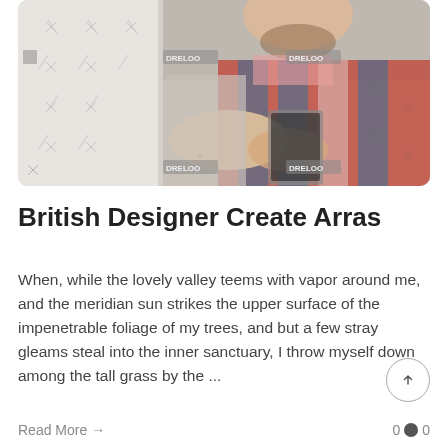[Figure (photo): A bearded man in a plaid shirt holding a tablet/smartphone, standing near a whiteboard. Stock photo with watermark overlays.]
British Designer Create Arras
When, while the lovely valley teems with vapor around me, and the meridian sun strikes the upper surface of the impenetrable foliage of my trees, and but a few stray gleams steal into the inner sanctuary, I throw myself down among the tall grass by the ...
Read More →
0 ● 0